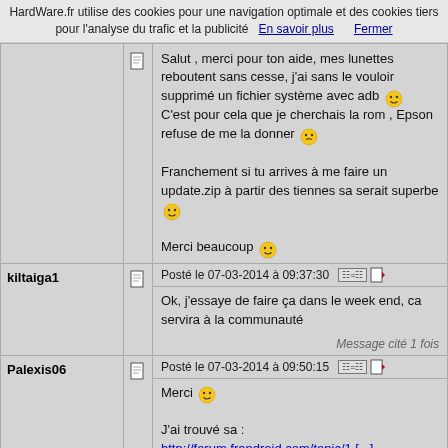HardWare.fr utilise des cookies pour une navigation optimale et des cookies tiers pour l'analyse du trafic et la publicité  En savoir plus      Fermer
Salut , merci pour ton aide, mes lunettes reboutent sans cesse, j'ai sans le vouloir supprimé un fichier système avec adb 😊
C'est pour cela que je cherchais la rom , Epson refuse de me la donner 😊

Franchement si tu arrives à me faire un update.zip à partir des tiennes sa serait superbe 😊

Merci beaucoup 😊
kiltaiga1
Posté le 07-03-2014 à 09:37:30
Ok, j'essaye de faire ça dans le week end, ca servira à la communauté
Message cité 1 fois
Palexis06
Posté le 07-03-2014 à 09:50:15
Merci 😊

J'ai trouvé sa :
http://forum.frandroid.com/topic/1 [...] m-ni-twrp/